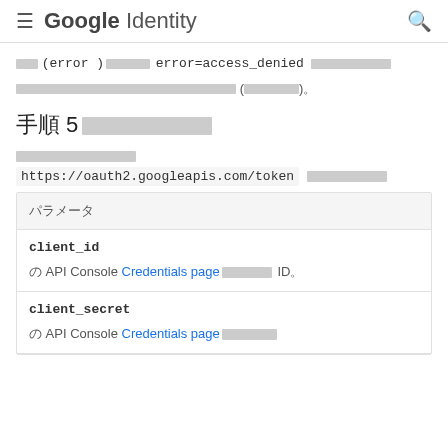≡ Google Identity 🔍
[CJK chars] (error)[CJK chars] error=access_denied [CJK chars]
[CJK chars] ([CJK chars])。
手順 5[CJK chars]
[CJK underline text]
https://oauth2.googleapis.com/token [CJK chars]
| パラメータ |
| --- |
| client_id | 「API Console Credentials page」で作成したIDです。 |
| client_secret | 「API Console Credentials page」で作成した |